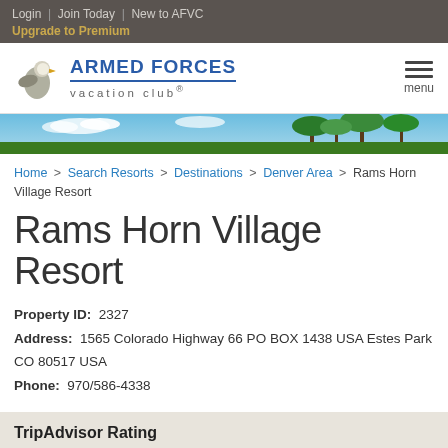Login | Join Today | New to AFVC
Upgrade to Premium
[Figure (logo): Armed Forces Vacation Club logo with eagle and text]
[Figure (photo): Tropical banner with palm trees and blue sky]
Home > Search Resorts > Destinations > Denver Area > Rams Horn Village Resort
Rams Horn Village Resort
Property ID: 2327
Address: 1565 Colorado Highway 66 PO BOX 1438 USA Estes Park CO 80517 USA
Phone: 970/586-4338
TripAdvisor Rating
1322 reviews